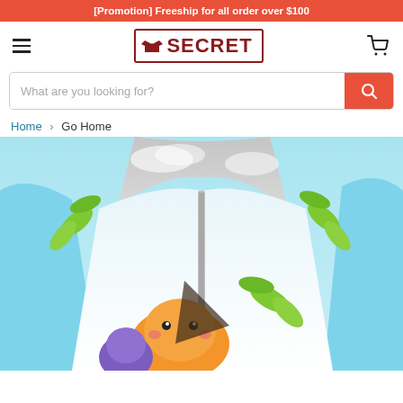[Promotion] Freeship for all order over $100
[Figure (logo): 1Secret brand logo with shirt icon]
What are you looking for?
Home › Go Home
[Figure (photo): Colorful anime/cartoon hoodie with sky blue sleeves, white front, and cartoon character graphics including orange character with leaves]